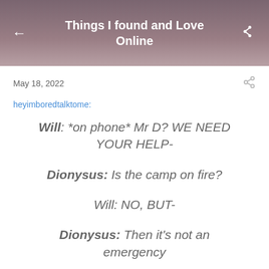Things I found and Love Online
May 18, 2022
heyimboredtalktome:
Will: *on phone* Mr D? WE NEED YOUR HELP-
Dionysus: Is the camp on fire?
Will: NO, BUT-
Dionysus: Then it's not an emergency